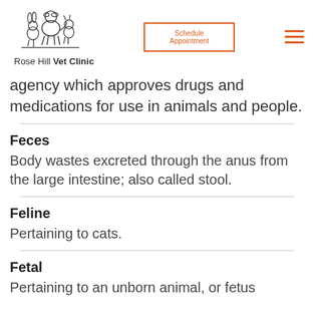Rose Hill Vet Clinic — Schedule Appointment
agency which approves drugs and medications for use in animals and people.
Feces
Body wastes excreted through the anus from the large intestine; also called stool.
Feline
Pertaining to cats.
Fetal
Pertaining to an unborn animal, or fetus